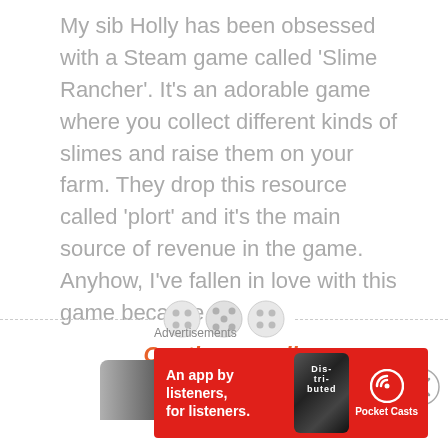My sib Holly has been obsessed with a Steam game called 'Slime Rancher'. It's an adorable game where you collect different kinds of slimes and raise them on your farm. They drop this resource called 'plort' and it's the main source of revenue in the game. Anyhow, I've fallen in love with this game because…
Continue reading
[Figure (other): Decorative divider with three circular button icons and dashed lines on either side]
[Figure (photo): Partial dark photograph of what appears to be a device or object, partially cut off at bottom]
Advertisements
[Figure (other): Pocket Casts advertisement banner: red background with text 'An app by listeners, for listeners.' and Pocket Casts logo with a phone graphic showing 'Dis-tri-buted' text]